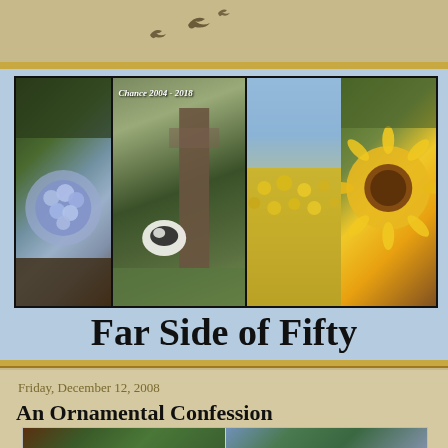[Figure (photo): Top header area with sandy tan background and bird silhouettes flying]
[Figure (photo): Four-panel photo strip: purple/blue hydrangea flower, black and white dog (Chance 2004-2018) hiding behind a tree, field of sunflowers, close-up sunflower]
Far Side of Fifty
Friday, December 12, 2008
An Ornamental Confession
[Figure (photo): Two Christmas tree ornament photos: left shows decorated Christmas tree, right shows star-shaped ornament decoration on blue background]